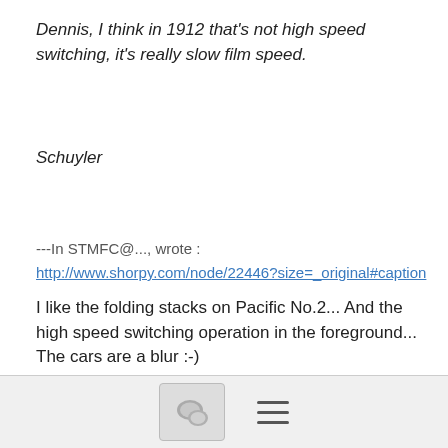Dennis, I think in 1912 that's not high speed switching, it's really slow film speed.
Schuyler
---In STMFC@..., wrote :
http://www.shorpy.com/node/22446?size=_original#caption
I like the folding stacks on Pacific No.2... And the high speed switching operation in the foreground... The cars are a blur :-)
Dennis Storzek
More
destorzek@...
9/01/17